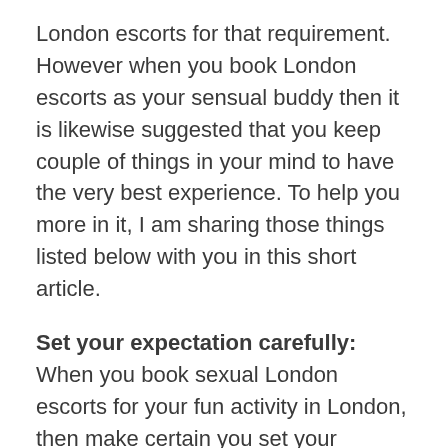London escorts for that requirement. However when you book London escorts as your sensual buddy then it is likewise suggested that you keep couple of things in your mind to have the very best experience. To help you more in it, I am sharing those things listed below with you in this short article.
Set your expectation carefully: When you book sexual London escorts for your fun activity in London, then make certain you set your expectations carefully. If you believe they can use sex to you then you are making an incorrect presumption due to the fact that cheap London escorts use a lot of sensual services, however sex is not one of them. For this reason, it is a great idea that when you schedule them then you set your expectations sensibly and you do not anticipate sex or something else that resembles this specific experience or pleasure activity.